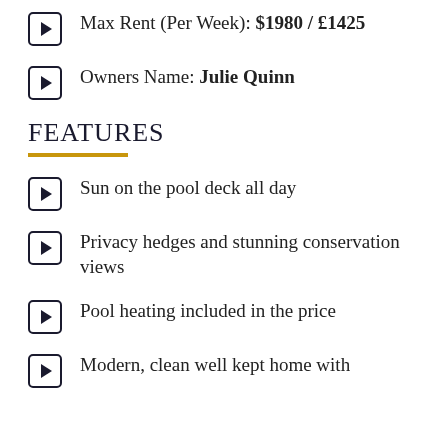Max Rent (Per Week): $1980 / £1425
Owners Name: Julie Quinn
FEATURES
Sun on the pool deck all day
Privacy hedges and stunning conservation views
Pool heating included in the price
Modern, clean well kept home with